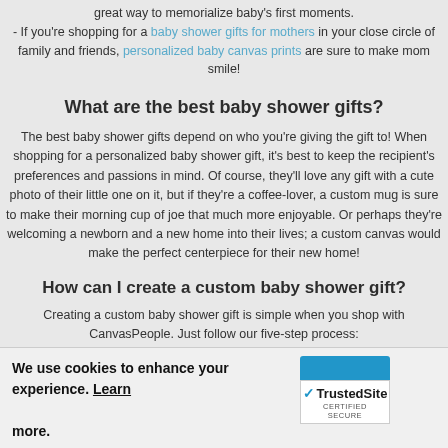great way to memorialize baby's first moments.
- If you're shopping for a baby shower gifts for mothers in your close circle of family and friends, personalized baby canvas prints are sure to make mom smile!
What are the best baby shower gifts?
The best baby shower gifts depend on who you're giving the gift to! When shopping for a personalized baby shower gift, it's best to keep the recipient's preferences and passions in mind. Of course, they'll love any gift with a cute photo of their little one on it, but if they're a coffee-lover, a custom mug is sure to make their morning cup of joe that much more enjoyable. Or perhaps they're welcoming a newborn and a new home into their lives; a custom canvas would make the perfect centerpiece for their new home!
How can I create a custom baby shower gift?
Creating a custom baby shower gift is simple when you shop with CanvasPeople. Just follow our five-step process:
1. Select a photo (and a product)
2. Adjust the size until it's picture-perfect
We use cookies to enhance your experience. Learn more.